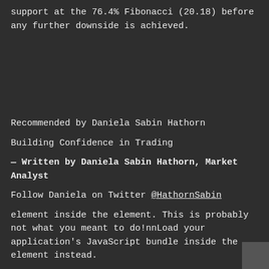support at the 76.4% Fibonacci (20.18) before any further downside is achieved.
Recommended by Daniela Sabin Hathorn
Building Confidence in Trading
— Written by Daniela Sabin Hathorn, Market Analyst
Follow Daniela on Twitter @HathornSabin
element inside the element. This is probably not what you meant to do!nnLoad your application's JavaScript bundle inside the element instead.